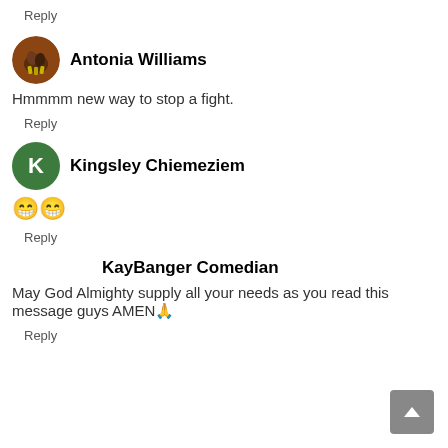Reply
Antonia Williams
Hmmmm new way to stop a fight.
Reply
Kingsley Chiemeziem
😁😁
Reply
KayBanger Comedian
May God Almighty supply all your needs as you read this message guys AMEN🙏
Reply